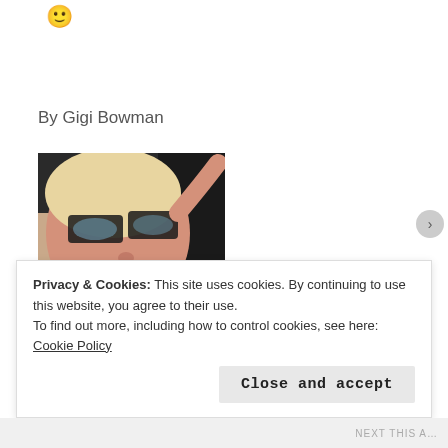[Figure (illustration): Small yellow smiley face emoji]
By Gigi Bowman
[Figure (photo): Woman with dark-rimmed glasses and blonde hair taking a selfie, wearing a white t-shirt with a pink graphic print. Photo is cropped at waist.]
Privacy & Cookies: This site uses cookies. By continuing to use this website, you agree to their use.
To find out more, including how to control cookies, see here: Cookie Policy
Close and accept